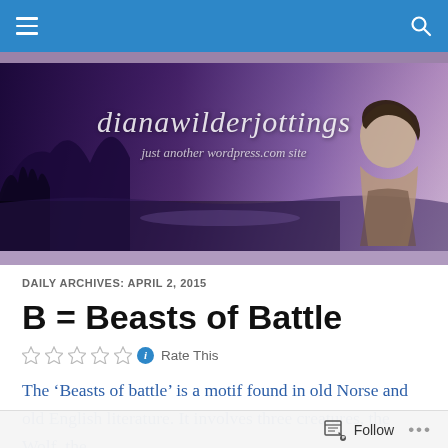Navigation bar with hamburger menu and search icon
[Figure (illustration): Blog banner for dianawilderjottings — purple/mauve gradient background with landscape silhouette and vintage portrait of a woman on the right. Text reads 'dianawilderjottings' and 'just another wordpress.com site']
DAILY ARCHIVES: APRIL 2, 2015
B = Beasts of Battle
Rate This
The ‘Beasts of battle’ is a motif found in old Norse and old English literature. It involves three creatures, the Wolf, the
Follow